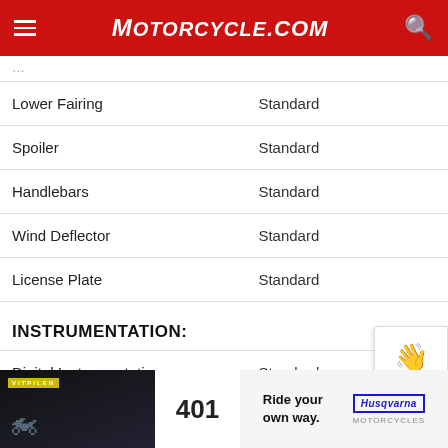Motorcycle.com
| Feature | Value |
| --- | --- |
| Lower Fairing | Standard |
| Spoiler | Standard |
| Handlebars | Standard |
| Wind Deflector | Standard |
| License Plate | Standard |
INSTRUMENTATION:
| Feature | Value |
| --- | --- |
| Digital Instrumentation | Standard |
| Clock | Standard |
| Tachometer | Standard |
| Trip Odometer | Standard |
| Trip Computer | Standard |
[Figure (screenshot): Advertisement banner for Husqvarna Vitpilen 401 motorcycle with tagline 'Ride your own way.']